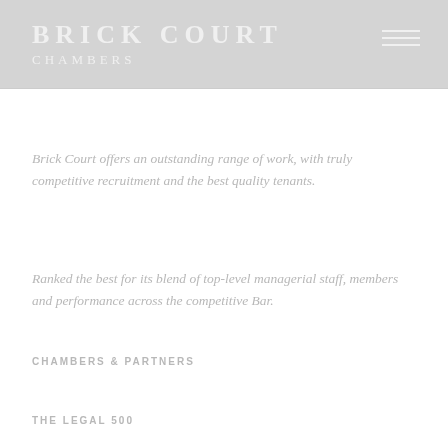BRICK COURT CHAMBERS
Brick Court offers an outstanding range of work, with truly competitive recruitment and the best quality tenants.
Ranked the best for its blend of top-level managerial staff, members and performance across the competitive Bar.
CHAMBERS & PARTNERS
THE LEGAL 500